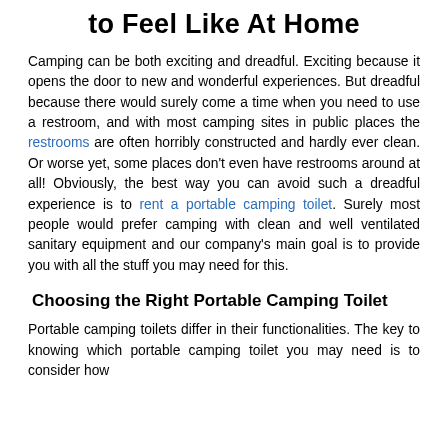to Feel Like At Home
Camping can be both exciting and dreadful. Exciting because it opens the door to new and wonderful experiences. But dreadful because there would surely come a time when you need to use a restroom, and with most camping sites in public places the restrooms are often horribly constructed and hardly ever clean. Or worse yet, some places don't even have restrooms around at all! Obviously, the best way you can avoid such a dreadful experience is to rent a portable camping toilet. Surely most people would prefer camping with clean and well ventilated sanitary equipment and our company's main goal is to provide you with all the stuff you may need for this.
Choosing the Right Portable Camping Toilet
Portable camping toilets differ in their functionalities. The key to knowing which portable camping toilet you may need is to consider how